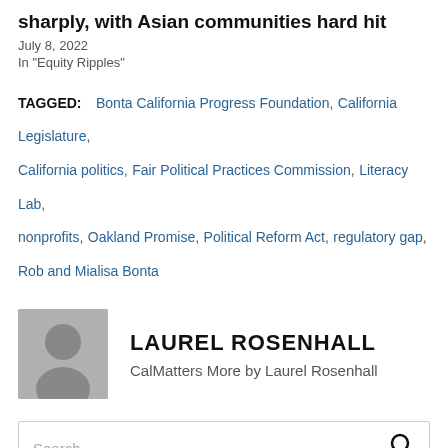sharply, with Asian communities hard hit
July 8, 2022
In "Equity Ripples"
TAGGED: Bonta California Progress Foundation, California Legislature, California politics, Fair Political Practices Commission, Literacy Lab, nonprofits, Oakland Promise, Political Reform Act, regulatory gap, Rob and Mialisa Bonta
LAUREL ROSENHALL
CalMatters More by Laurel Rosenhall
Search …
Local News Matters brings community coverage to the SF Bay Area so that the people, places and topics that deserve more attention